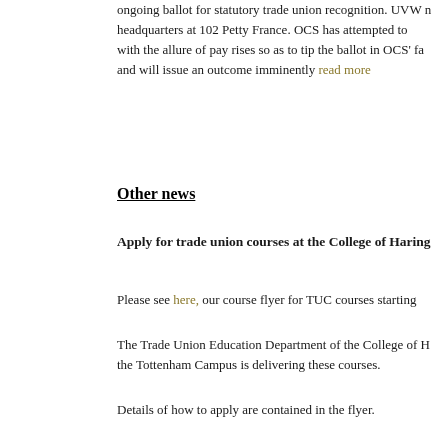ongoing ballot for statutory trade union recognition. UVW n headquarters at 102 Petty France. OCS has attempted to with the allure of pay rises so as to tip the ballot in OCS' fa and will issue an outcome imminently read more
Other news
Apply for trade union courses at the College of Haring
Please see here, our course flyer for TUC courses starting
The Trade Union Education Department of the College of H the Tottenham Campus is delivering these courses.
Details of how to apply are contained in the flyer.